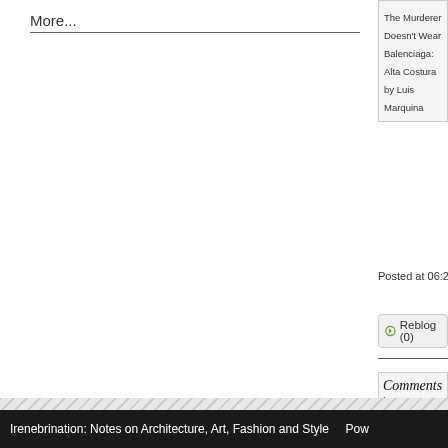More...
The Murderer Doesn't Wear Balenciaga: Alta Costura by Luis Marquina
Posted at 06:28 AM
Reblog (0)
Comments
You can follo
The comments to
Irenebrination: Notes on Architecture, Art, Fashion and Style   Pow